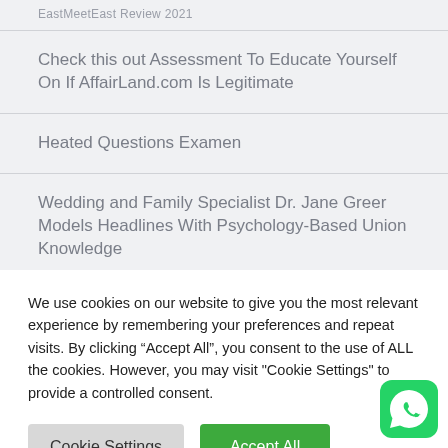EastMeetEast Review 2021
Check this out Assessment To Educate Yourself On If AffairLand.com Is Legitimate
Heated Questions Examen
Wedding and Family Specialist Dr. Jane Greer Models Headlines With Psychology-Based Union Knowledge
We use cookies on our website to give you the most relevant experience by remembering your preferences and repeat visits. By clicking “Accept All”, you consent to the use of ALL the cookies. However, you may visit "Cookie Settings" to provide a controlled consent.